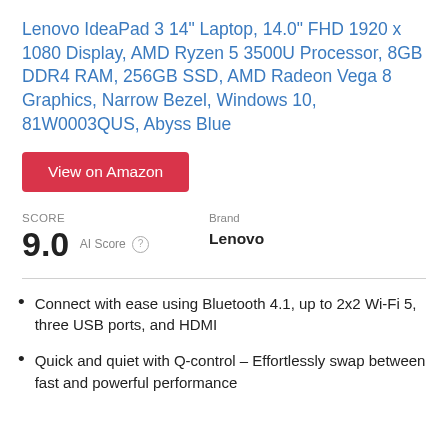Lenovo IdeaPad 3 14" Laptop, 14.0" FHD 1920 x 1080 Display, AMD Ryzen 5 3500U Processor, 8GB DDR4 RAM, 256GB SSD, AMD Radeon Vega 8 Graphics, Narrow Bezel, Windows 10, 81W0003QUS, Abyss Blue
View on Amazon
SCORE
9.0  AI Score
Brand
Lenovo
Connect with ease using Bluetooth 4.1, up to 2x2 Wi-Fi 5, three USB ports, and HDMI
Quick and quiet with Q-control – Effortlessly swap between fast and powerful performance and better battery performance